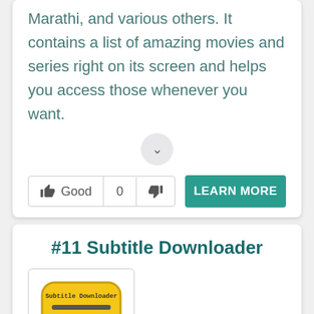Marathi, and various others. It contains a list of amazing movies and series right on its screen and helps you access those whenever you want.
[Figure (screenshot): A collapsed section chevron button (down arrow) in a light grey circle]
[Figure (screenshot): Vote row with thumbs up Good, count 0, thumbs down, and a teal LEARN MORE button]
#11 Subtitle Downloader
[Figure (screenshot): Subtitle Downloader app icon - yellow speech bubble with horizontal lines and text 'Subtitle Downloader']
[Figure (screenshot): Teal heart button and teal up-arrow button on the right side]